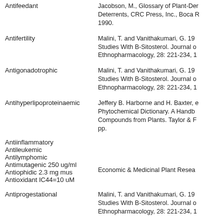Antifeedant
Jacobson, M., Glossary of Plant-Derived Insect Deterrents, CRC Press, Inc., Boca R... 1990.
Antifertility
Malini, T. and Vanithakumari, G. 19... Studies With B-Sitosterol. Journal o... Ethnopharmacology, 28: 221-234, 1...
Antigonadotrophic
Malini, T. and Vanithakumari, G. 19... Studies With B-Sitosterol. Journal o... Ethnopharmacology, 28: 221-234, 1...
Antihyperlipoproteinaemic
Jeffery B. Harborne and H. Baxter, e... Phytochemical Dictionary. A Handb... Compounds from Plants. Taylor & F... pp.
Antiinflammatory
Antileukemic
Antilymphomic
Antimutagenic 250 ug/ml
Antiophidic 2.3 mg mus
Economic & Medicinal Plant Resea...
Antioxidant IC44=10 uM
Antiprogestational
Malini, T. and Vanithakumari, G. 19... Studies With B-Sitosterol. Journal o... Ethnopharmacology, 28: 221-234, 1...